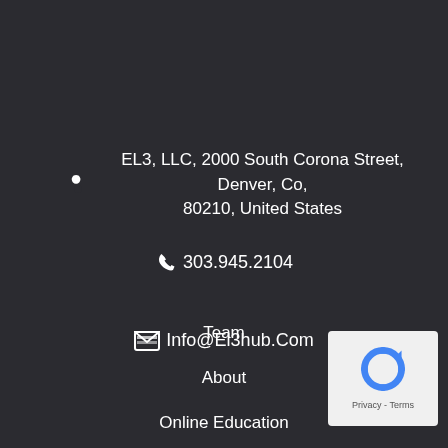EL3, LLC, 2000 South Corona Street, Denver, Co, 80210, United States
📞 303.945.2104
✉ Info@El3hub.Com
Team
About
Online Education
Blog
[Figure (logo): reCAPTCHA badge with blue circular arrow icon and Privacy - Terms text]